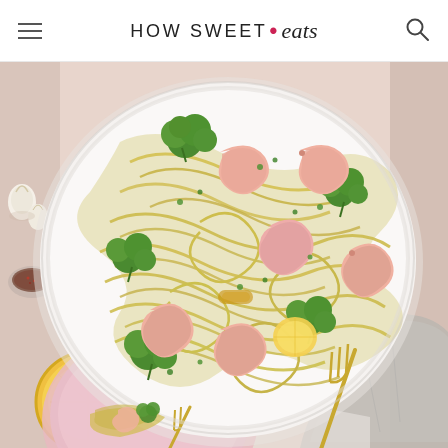HOW SWEET • eats
[Figure (photo): Overhead food photography of a large white plate filled with shrimp and broccoli pasta (spaghetti) garnished with herbs and lemon, with a gold fork, a halved lemon, garlic cloves, small bowl of spices, a smaller pink plate with a serving, and a gray linen napkin on a pink surface. Blog: How Sweet Eats.]